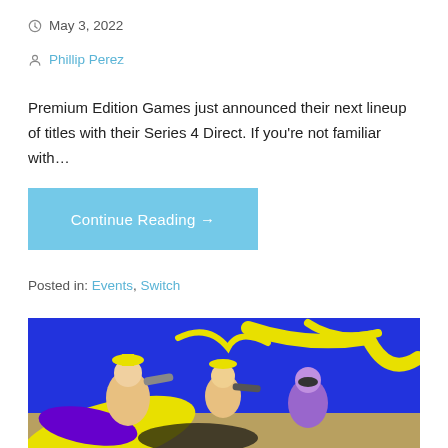May 3, 2022
Phillip Perez
Premium Edition Games just announced their next lineup of titles with their Series 4 Direct. If you’re not familiar with…
Continue Reading →
Posted in: Events, Switch
[Figure (illustration): Colorful video game artwork showing animated characters in action with yellow and purple ink splashes against a bright blue sky background, resembling Splatoon 3 artwork.]